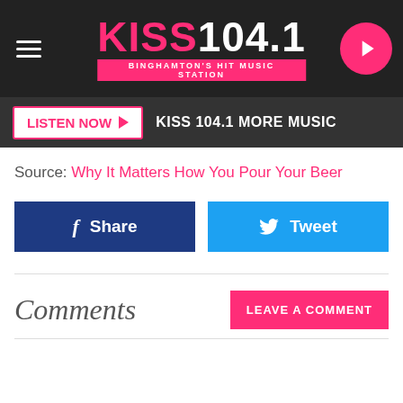KISS 104.1 BINGHAMTON'S HIT MUSIC STATION
LISTEN NOW  KISS 104.1 MORE MUSIC
Source: Why It Matters How You Pour Your Beer
Share
Tweet
Comments
LEAVE A COMMENT